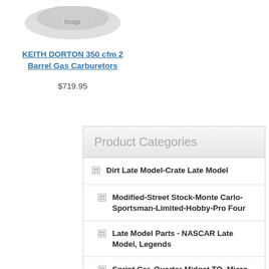[Figure (photo): Product image placeholder area (partially visible, cropped at top)]
KEITH DORTON 350 cfm 2 Barrel Gas Carburetors
$719.95
Product Categories
Dirt Late Model-Crate Late Model
Modified-Street Stock-Monte Carlo-Sportsman-Limited-Hobby-Pro Four
Late Model Parts - NASCAR Late Model, Legends
Sprint Car, Quarter Midget,TQ, Micro, Mini Sprint, Mini Cup, Karts